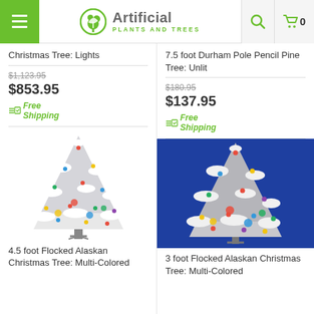Artificial Plants and Trees
Christmas Tree: Lights
$1,123.95
$853.95
Free Shipping
7.5 foot Durham Pole Pencil Pine Tree: Unlit
$180.95
$137.95
Free Shipping
[Figure (photo): 4.5 foot Flocked Alaskan Christmas Tree with multi-colored lights on white background]
4.5 foot Flocked Alaskan Christmas Tree: Multi-Colored
[Figure (photo): 3 foot Flocked Alaskan Christmas Tree with multi-colored lights on blue background]
3 foot Flocked Alaskan Christmas Tree: Multi-Colored